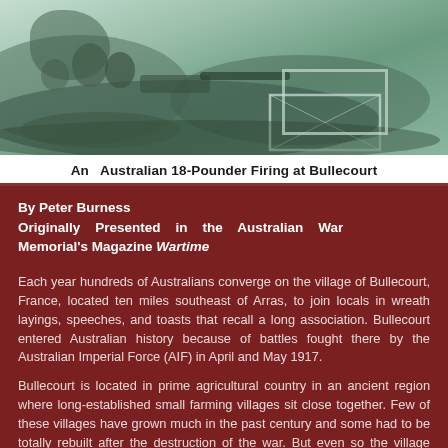[Figure (photo): Black and white photograph of an Australian 18-Pounder artillery gun firing at Bullecourt, with soldiers visible near earthworks and a rectangular box/crate in the foreground.]
An  Australian 18-Pounder Firing at Bullecourt
By Peter Burness
Originally Presented in the Australian War Memorial's Magazine Wartime
Each year hundreds of Australians converge on the village of Bullecourt, France, located ten miles southeast of Arras, to join locals in wreath layings, speeches, and toasts that recall a long association. Bullecourt entered Australian history because of battles fought there by the Australian Imperial Force (AIF) in April and May 1917.
Bullecourt is located in prime agricultural country in an ancient region where long-established small farming villages sit close together. Few of these villages have grown much in the past century and some had to be totally rebuilt after the destruction of the war. But even so the village lines of a couple of thousand years still remain.